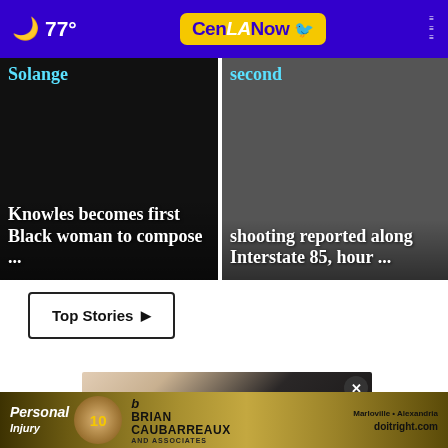🌙 77° | CenLANow
[Figure (photo): News article card: dark background with text overlay. Partially visible headline reads 'Solange Knowles becomes first Black woman to compose ...']
[Figure (photo): News article card: dark background showing vehicles/trucks. Partially visible headline reads 'second shooting reported along Interstate 85, hour ...']
Top Stories ▶
[Figure (photo): Close-up photo of sandals/shoes on feet with jeans, showing ankle with bracelet.]
[Figure (photo): Advertisement banner for Brian Caubarreaux and Associates personal injury law firm. Marloville • Alexandria, doitright.com]